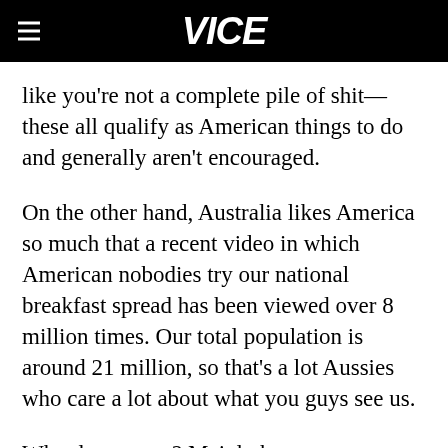VICE
like you're not a complete pile of shit—these all qualify as American things to do and generally aren't encouraged.
On the other hand, Australia likes America so much that a recent video in which American nobodies try our national breakfast spread has been viewed over 8 million times. Our total population is around 21 million, so that's a lot Aussies who care a lot about what you guys see us.
Why do we care? Mainly because every time